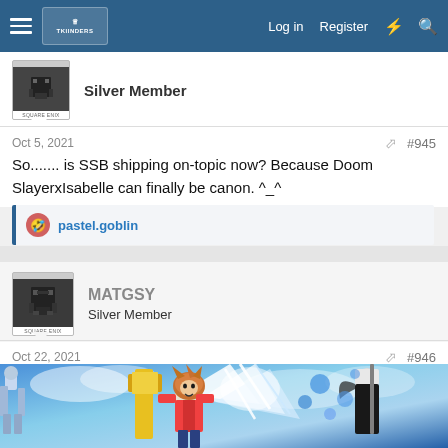Log in  Register
Silver Member
Oct 5, 2021  #945
So....... is SSB shipping on-topic now? Because Doom SlayerxIsabelle can finally be canon. ^_^
pastel.goblin
MATGSY
Silver Member
Oct 22, 2021  #946
[Figure (screenshot): Video game screenshot showing Sora from Kingdom Hearts and other characters in Super Smash Bros Ultimate, with blue sky background and light burst effect]